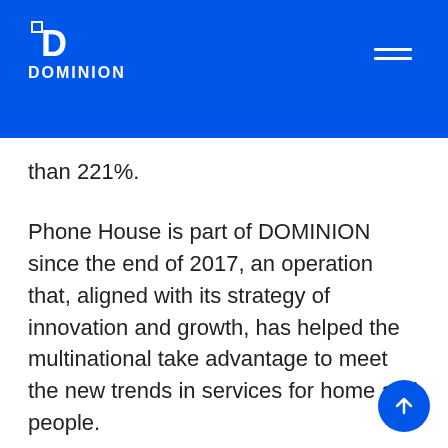DOMINION
than 221%.
Phone House is part of DOMINION since the end of 2017, an operation that, aligned with its strategy of innovation and growth, has helped the multinational take advantage to meet the new trends in services for home and people.
"Thanks to new digital processes we can accelerate the goal we have of becoming the leaders in services for people and the home, points out the Head of E-commerce of Phone